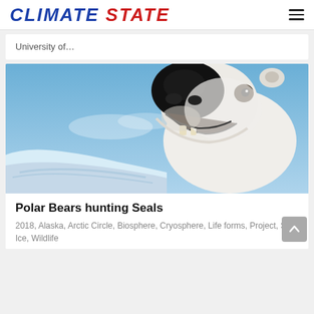CLIMATE STATE
University of…
[Figure (photo): Close-up photo of a polar bear looking down at the camera, against a blue sky with snow/ice in the foreground.]
Polar Bears hunting Seals
2018, Alaska, Arctic Circle, Biosphere, Cryosphere, Life forms, Project, Sea Ice, Wildlife